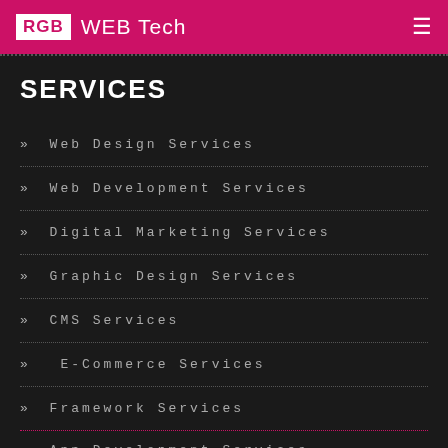RGB WEB Tech
SERVICES
» Web Design Services
» Web Development Services
» Digital Marketing Services
» Graphic Design Services
» CMS Services
»  E-Commerce Services
» Framework Services
» App Development Services